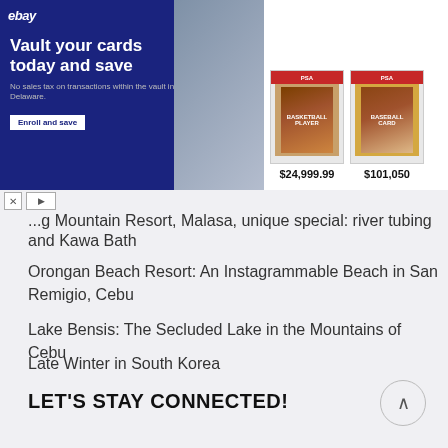[Figure (screenshot): eBay advertisement banner for card vault service showing 'Vault your cards today and save' with two trading cards priced at $24,999.99 and $101,050]
...g Mountain Resort, Malasa, unique special: river tubing and Kawa Bath
Orongan Beach Resort: An Instagrammable Beach in San Remigio, Cebu
Lake Bensis: The Secluded Lake in the Mountains of Cebu
Late Winter in South Korea
LET'S STAY CONNECTED!